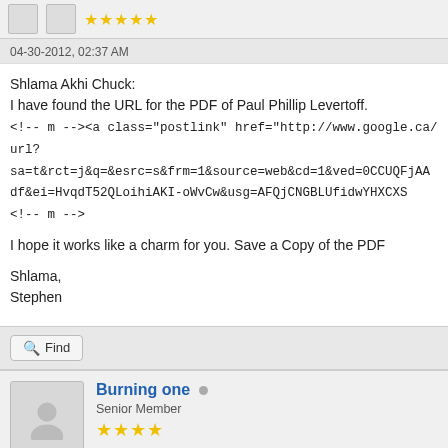04-30-2012, 02:37 AM
Shlama Akhi Chuck:
I have found the URL for the PDF of Paul Phillip Levertoff.
<!-- m --><a class="postlink" href="http://www.google.ca/url?sa=t&rct=j&q=&esrc=s&frm=1&source=web&cd=1&ved=0CCUQFjAAdf&ei=HvqdT52QLoihiAKI-oWvCw&usg=AFQjCNGBLUfidwYHXCXS<!-- m -->

I hope it works like a charm for you. Save a Copy of the PDF

Shlama,
Stephen
Burning one
Senior Member
04-30-2012, 07:30 PM